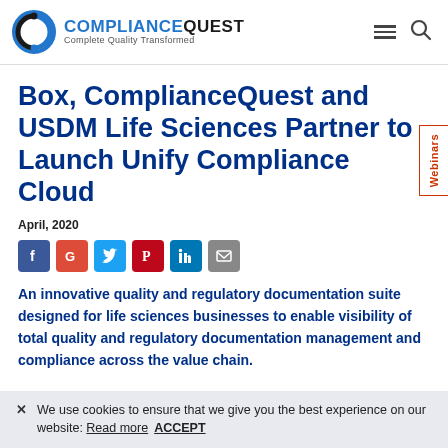ComplianceQuest — Complete Quality Transformed
Box, ComplianceQuest and USDM Life Sciences Partner to Launch Unify Compliance Cloud
April, 2020
[Figure (infographic): Social sharing icons: Facebook, Google+, Twitter, Pinterest, LinkedIn, Email]
An innovative quality and regulatory documentation suite designed for life sciences businesses to enable visibility of total quality and regulatory documentation management and compliance across the value chain.
We use cookies to ensure that we give you the best experience on our website: Read more  ACCEPT